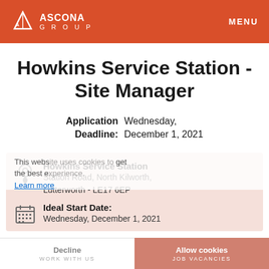ASCONA GROUP | MENU
Howkins Service Station - Site Manager
Application Deadline: Wednesday, December 1, 2021
Howkins Service Station
Station Road, North Kilworth, Lutterworth - LE17 6EP
Ideal Start Date:
Wednesday, December 1, 2021
This website uses cookies to get the best experience. Learn more
Decline | WORK WITH US | Allow cookies | JOB VACANCIES